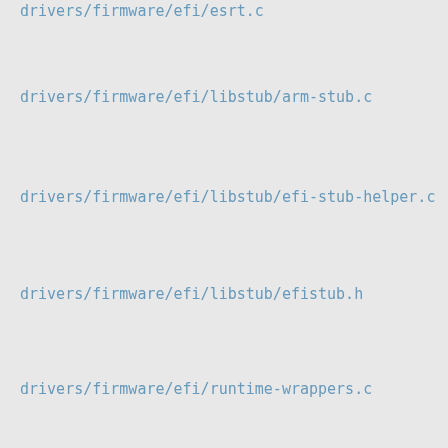drivers/firmware/efi/esrt.c
drivers/firmware/efi/libstub/arm-stub.c
drivers/firmware/efi/libstub/efi-stub-helper.c
drivers/firmware/efi/libstub/efistub.h
drivers/firmware/efi/runtime-wrappers.c
drivers/gpio/gpiolib-acpi.c